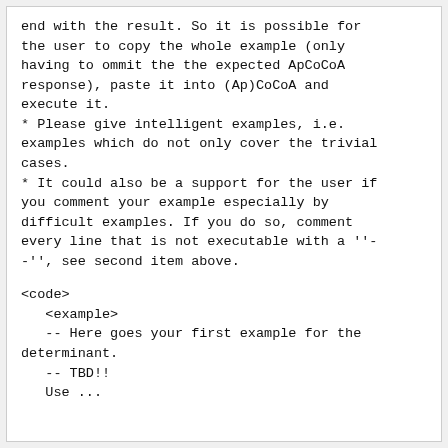end with the result. So it is possible for the user to copy the whole example (only having to ommit the the expected ApCoCoA response), paste it into (Ap)CoCoA and execute it.
* Please give intelligent examples, i.e. examples which do not only cover the trivial cases.
* It could also be a support for the user if you comment your example especially by difficult examples. If you do so, comment every line that is not executable with a ''--'', see second item above.
<code>
   <example>
   -- Here goes your first example for the determinant.
   -- TBD!!
   Use ...